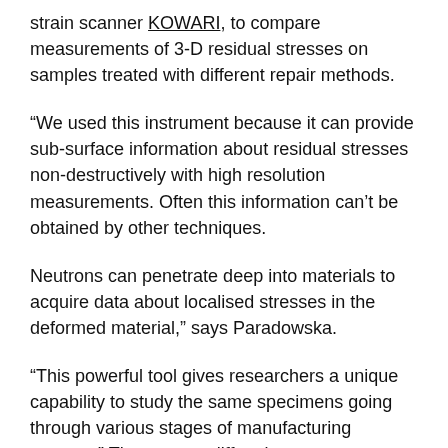strain scanner KOWARI, to compare measurements of 3-D residual stresses on samples treated with different repair methods.
“We used this instrument because it can provide sub-surface information about residual stresses non-destructively with high resolution measurements. Often this information can’t be obtained by other techniques.
Neutrons can penetrate deep into materials to acquire data about localised stresses in the deformed material,” says Paradowska.
“This powerful tool gives researchers a unique capability to study the same specimens going through various stages of manufacturing process.” The neutron diffraction measurements showed that DSR caused deeper and higher magnitude compressive residual stresses at the surface and into the substrate. These stresses increased both the